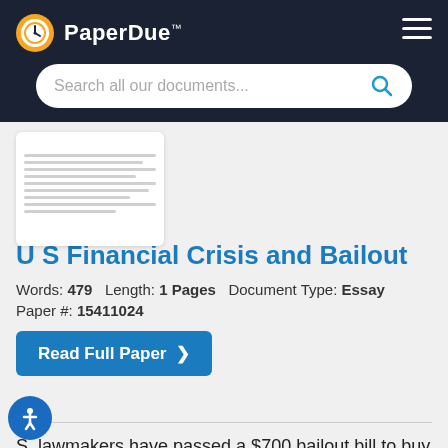PaperDue™
U S Financial Crisis and Bailout
Words: 479   Length: 1 Pages   Document Type: Essay
Paper #: 15411024
Read Full Paper ❯
S. lawmakers have passed a $700 bailout bill to buy troubled assets from banks in hopes that they will